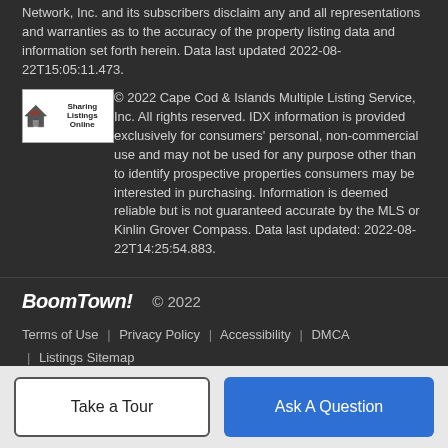Network, Inc. and its subscribers disclaim any and all representations and warranties as to the accuracy of the property listing data and information set forth herein. Data last updated 2022-08-22T15:05:11.473.
[Figure (logo): BR Sharing Listings Online logo with house icon]
© 2022 Cape Cod & Islands Multiple Listing Service, Inc. All rights reserved. IDX information is provided exclusively for consumers' personal, non-commercial use and may not be used for any purpose other than to identify prospective properties consumers may be interested in purchasing. Information is deemed reliable but is not guaranteed accurate by the MLS or Kinlin Grover Compass. Data last updated: 2022-08-22T14:25:54.883.
BoomTown! © 2022
Terms of Use | Privacy Policy | Accessibility | DMCA | Listings Sitemap
Take a Tour
Ask A Question